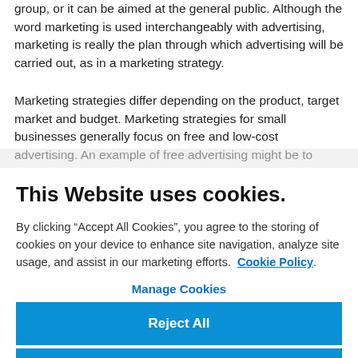group, or it can be aimed at the general public. Although the word marketing is used interchangeably with advertising, marketing is really the plan through which advertising will be carried out, as in a marketing strategy.
Marketing strategies differ depending on the product, target market and budget. Marketing strategies for small businesses generally focus on free and low-cost advertising. An example of free advertising might be to
This Website uses cookies.
By clicking “Accept All Cookies”, you agree to the storing of cookies on your device to enhance site navigation, analyze site usage, and assist in our marketing efforts.  Cookie Policy.
Manage Cookies
Reject All
Accept All Cookies